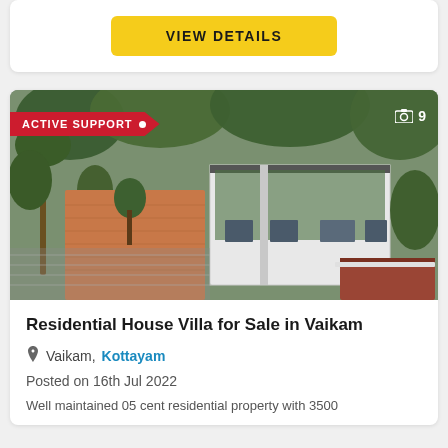[Figure (other): Yellow 'VIEW DETAILS' button on white card background]
[Figure (photo): Aerial drone photo of a residential house/villa in Vaikam, Kerala, showing a white flat-roofed building surrounded by trees and a brick courtyard. Red 'ACTIVE SUPPORT' badge in top-left, photo count '9' in top-right.]
Residential House Villa for Sale in Vaikam
Vaikam, Kottayam
Posted on 16th Jul 2022
Well maintained 05 cent residential property with 3500